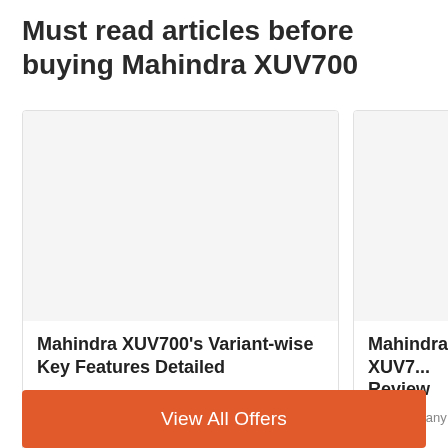Must read articles before buying Mahindra XUV700
[Figure (photo): Blank/white image placeholder for Mahindra XUV700 article card 1]
Mahindra XUV700's Variant-wise Key Features Detailed
Although the complete variant-wise equipment list is yet to be out, Mahindra
[Figure (photo): Blank/white image placeholder for Mahindra XUV700 article card 2]
Mahindra XUV7... Review
With so many segme... drivetrains, seating c...
View All Offers